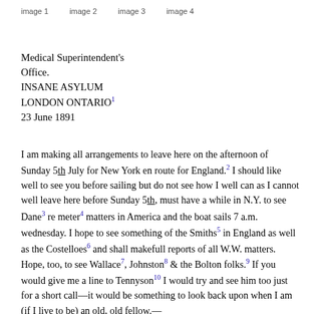image 1    image 2    image 3    image 4
Medical Superintendent's
Office.
INSANE ASYLUM
LONDON ONTARIO¹
23 June 1891
I am making all arrangements to leave here on the afternoon of Sunday 5th July for New York en route for England.² I should like well to see you before sailing but do not see how I well can as I cannot well leave here before Sunday 5th, must have a while in N.Y. to see Dane³ re meter⁴ matters in America and the boat sails 7 a.m. wednesday. I hope to see something of the Smiths⁵ in England as well as the Costelloes⁶ and shall makefull reports of all W.W. matters. Hope, too, to see Wallace⁷, Johnston⁸ & the Bolton folks.⁹ If you would give me a line to Tennyson¹⁰ I would try and see him too just for a short call—it would be something to look back upon when I am (if I live to be) an old, old fellow.—